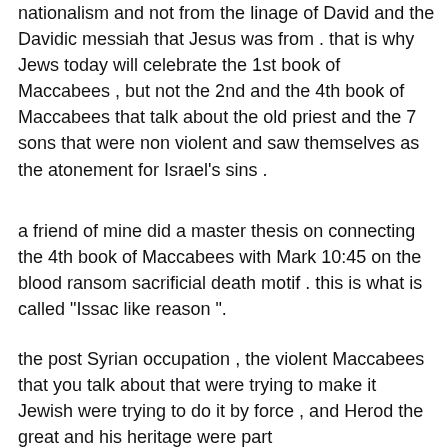nationalism and not from the linage of David and the Davidic messiah that Jesus was from . that is why Jews today will celebrate the 1st book of Maccabees , but not the 2nd and the 4th book of Maccabees that talk about the old priest and the 7 sons that were non violent and saw themselves as the atonement for Israel's sins .
a friend of mine did a master thesis on connecting the 4th book of Maccabees with Mark 10:45 on the blood ransom sacrificial death motif . this is what is called "Issac like reason ".
the post Syrian occupation , the violent Maccabees that you talk about that were trying to make it Jewish were trying to do it by force , and Herod the great and his heritage were part